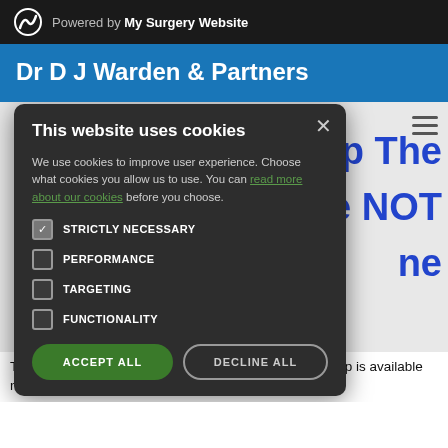Powered by My Surgery Website
Dr D J Warden & Partners
This website uses cookies

We use cookies to improve user experience. Choose what cookies you allow us to use. You can read more about our cookies before you choose.

STRICTLY NECESSARY [checked]
PERFORMANCE
TARGETING
FUNCTIONALITY

ACCEPT ALL | DECLINE ALL
Up The
e NOT
ne
The first step is to download the NHS App. The NHS App is available now on iOS (from the App